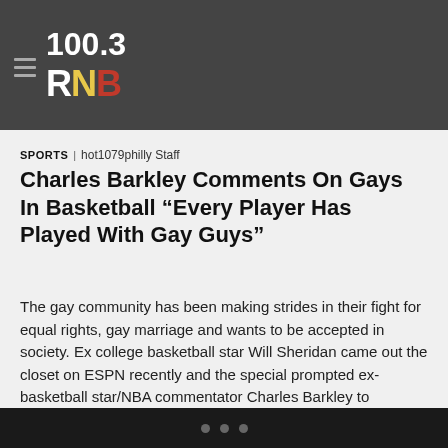100.3 RNB
SPORTS | hot1079philly Staff
Charles Barkley Comments On Gays In Basketball “Every Player Has Played With Gay Guys”
The gay community has been making strides in their fight for equal rights, gay marriage and wants to be accepted in society. Ex college basketball star Will Sheridan came out the closet on ESPN recently and the special prompted ex-basketball star/NBA commentator Charles Barkley to comment on homosexuality in sports. “I really like ESPN. They […]